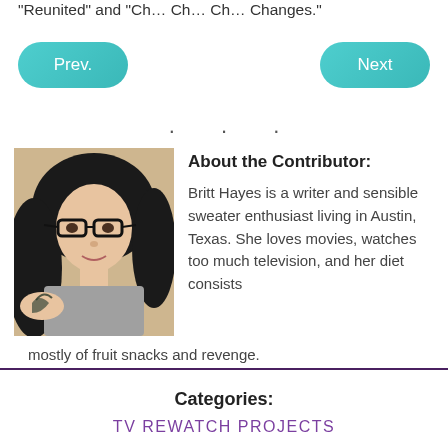"Reunited" and "Ch... Ch... Ch... Changes."
Prev.
Next
[Figure (photo): Portrait photo of Britt Hayes, a woman with dark hair, glasses, and a tattoo on her arm, wearing a grey shirt.]
About the Contributor:
Britt Hayes is a writer and sensible sweater enthusiast living in Austin, Texas. She loves movies, watches too much television, and her diet consists mostly of fruit snacks and revenge.
Categories:
TV REWATCH PROJECTS